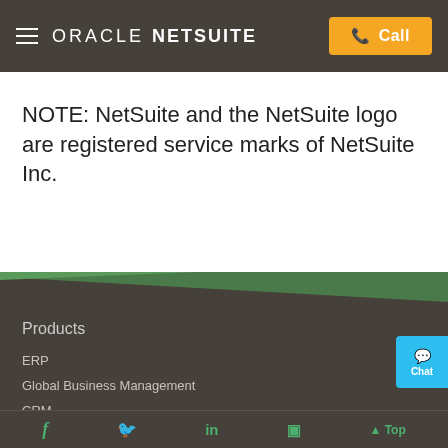ORACLE NETSUITE | Call
NOTE: NetSuite and the NetSuite logo are registered service marks of NetSuite Inc.
Products
ERP
Global Business Management
CRM
Omnichannel Commerce
Business Intelligence
f | Twitter | in | | Top